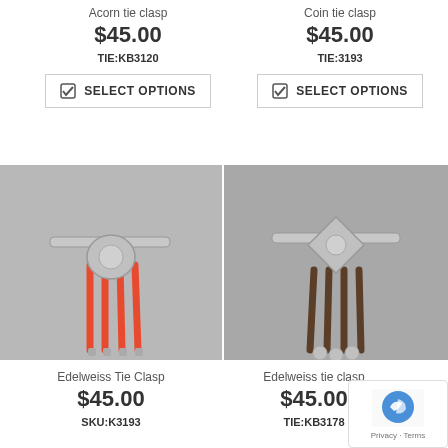Acorn tie clasp
$45.00
TIE:KB3120
SELECT OPTIONS
Coin tie clasp
$45.00
TIE:3193
SELECT OPTIONS
[Figure (photo): Edelweiss Tie Clasp with orange braided cords on grey background]
[Figure (photo): Edelweiss tie clasp with brown braided cords on grey background]
Edelweiss Tie Clasp
$45.00
SKU:K3193
Edelweiss tie clasp
$45.00
TIE:KB3178